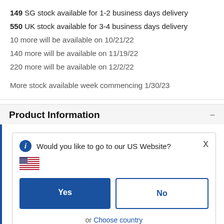149 SG stock available for 1-2 business days delivery
550 UK stock available for 3-4 business days delivery
10 more will be available on 10/21/22
140 more will be available on 11/19/22
220 more will be available on 12/2/22
More stock available week commencing 1/30/23
Product Information
[Figure (screenshot): A dialog popup asking 'Would you like to go to our US Website?' with a US flag icon, Yes (blue) and No (outlined) buttons, an 'or Choose country' link, and a checkbox for 'Remember this choice and automatically redirect me in the future'. An X close button is in the top right.]